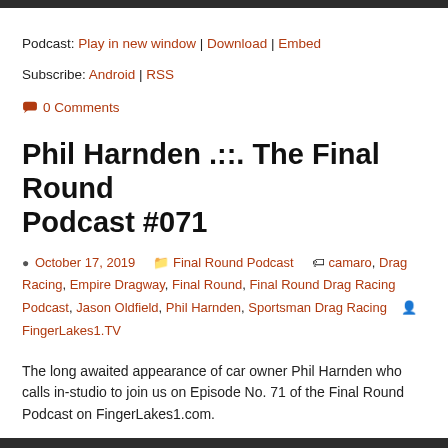Podcast: Play in new window | Download | Embed
Subscribe: Android | RSS
0 Comments
Phil Harnden .::. The Final Round Podcast #071
October 17, 2019   Final Round Podcast   camaro, Drag Racing, Empire Dragway, Final Round, Final Round Drag Racing Podcast, Jason Oldfield, Phil Harnden, Sportsman Drag Racing   FingerLakes1.TV
The long awaited appearance of car owner Phil Harnden who calls in-studio to join us on Episode No. 71 of the Final Round Podcast on FingerLakes1.com.